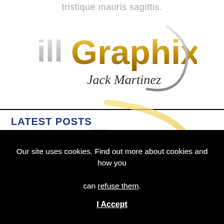tristique mauris sagittis.
[Figure (logo): illGraphix Jack Martinez logo with gold and silver lettering and swoosh]
[Figure (logo): iGx watermark logo with silver G and gold pen/letter icon, illGraphix text overlaid]
LATEST POSTS
Ebendiese wichtigsten Aufgaben zur Einschreibung sie sind schlichtweg abgeschlossen
Our site uses cookies. Find out more about cookies and how you can refuse them.
I Accept